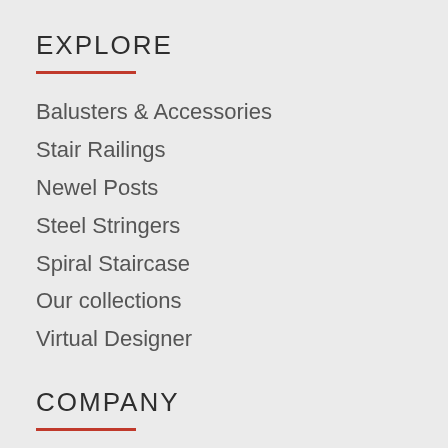EXPLORE
Balusters & Accessories
Stair Railings
Newel Posts
Steel Stringers
Spiral Staircase
Our collections
Virtual Designer
COMPANY
About Us